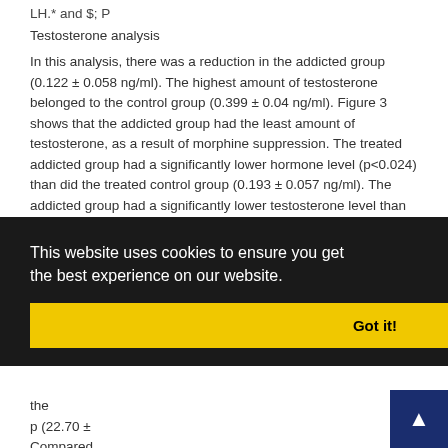LH.* and $; P
Testosterone analysis
In this analysis, there was a reduction in the addicted group (0.122 ± 0.058 ng/ml). The highest amount of testosterone belonged to the control group (0.399 ± 0.04 ng/ml). Figure 3 shows that the addicted group had the least amount of testosterone, as a result of morphine suppression. The treated addicted group had a significantly lower hormone level (p<0.024) than did the treated control group (0.193 ± 0.057 ng/ml). The addicted group had a significantly lower testosterone level than did the control group (p<0.001).
Fig 3
The effect of Tribulus terrestris (TT) on testosterone
the group (22.70 ± Compared the addicted group; there was a significant difference between thes